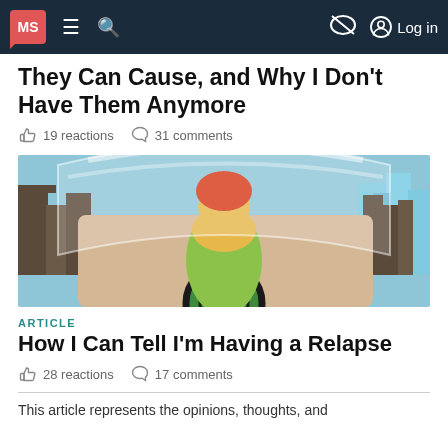MS | ≡ 🔍 | 🚫 | Log in
They Can Cause, and Why I Don't Have Them Anymore
19 reactions  31 comments
[Figure (illustration): Illustration of a person with red hair seen from behind, sitting in driver's seat of a car holding a steering wheel, with a city skyline visible through the windshield.]
ARTICLE
How I Can Tell I'm Having a Relapse
28 reactions  17 comments
This article represents the opinions, thoughts, and